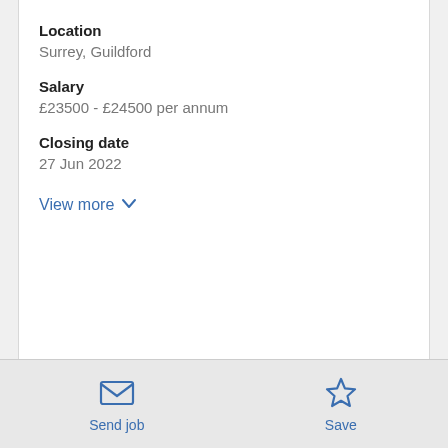Location
Surrey, Guildford
Salary
£23500 - £24500 per annum
Closing date
27 Jun 2022
View more
Are you looking for a foot on the ladder into the
Send job
Save